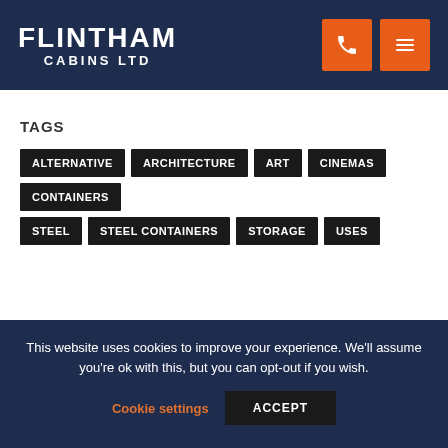FLINTHAM CABINS LTD
TAGS
ALTERNATIVE
ARCHITECTURE
ART
CINEMAS
CONTAINERS
STEEL
STEEL CONTAINERS
STORAGE
USES
CONTACT US
This website uses cookies to improve your experience. We'll assume you're ok with this, but you can opt-out if you wish.
Cookie settings | ACCEPT